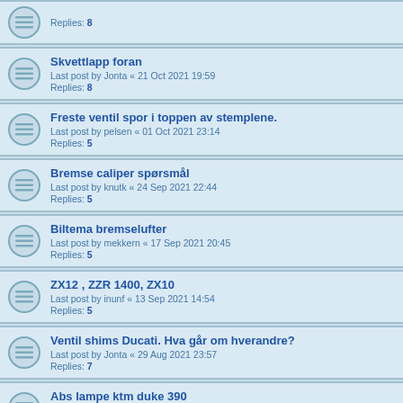Replies: 8
Skvettlapp foran
Last post by Jonta « 21 Oct 2021 19:59
Replies: 8
Freste ventil spor i toppen av stemplene.
Last post by pelsen « 01 Oct 2021 23:14
Replies: 5
Bremse caliper spørsmål
Last post by knutk « 24 Sep 2021 22:44
Replies: 5
Biltema bremselufter
Last post by mekkern « 17 Sep 2021 20:45
Replies: 5
ZX12 , ZZR 1400, ZX10
Last post by inunf « 13 Sep 2021 14:54
Replies: 5
Ventil shims Ducati. Hva går om hverandre?
Last post by Jonta « 29 Aug 2021 23:57
Replies: 7
Abs lampe ktm duke 390
Last post by knutk « 30 Jul 2021 22:45
Replies: 3
Skranglelyd ktm duke 390
Last post by Classichonda « 30 Jul 2021 14:19
Replies: 2
Bakbrems ktm duke 390 henger
Last post by Tekumseh « 29 Jul 2021 12:09
Replies: 19